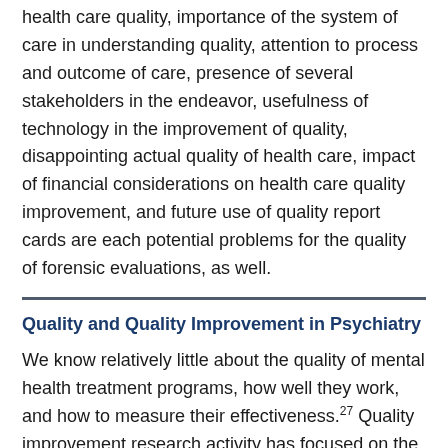health care quality, importance of the system of care in understanding quality, attention to process and outcome of care, presence of several stakeholders in the endeavor, usefulness of technology in the improvement of quality, disappointing actual quality of health care, impact of financial considerations on health care quality improvement, and future use of quality report cards are each potential problems for the quality of forensic evaluations, as well.
Quality and Quality Improvement in Psychiatry
We know relatively little about the quality of mental health treatment programs, how well they work, and how to measure their effectiveness.27 Quality improvement research activity has focused on the detection and treatment of serious depression, schizophrenia, and suicide.
Quality indicators specific to psychiatry include time until treatment, detection of mental disorder, and adequacy of treatment. Specific